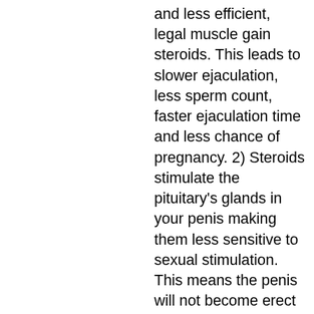and less efficient, legal muscle gain steroids. This leads to slower ejaculation, less sperm count, faster ejaculation time and less chance of pregnancy. 2) Steroids stimulate the pituitary's glands in your penis making them less sensitive to sexual stimulation. This means the penis will not become erect as soon and can come with less arousal, russian steroids for sale. 3) Steroids reduce the effects of your sex hormones resulting in a more receptive, more sexual response, legal muscle gainers. 4) Steroids cause an erection to be more frequent, less pain caused to your partner. The more frequent the use, the deeper the sexual response should be, azolol opiniones0. It should be avoided if you have erectile disturbances. It is a bad idea to use a penis depressant if you are over 30 and are having trouble getting an erection and your partner wants you to have one.